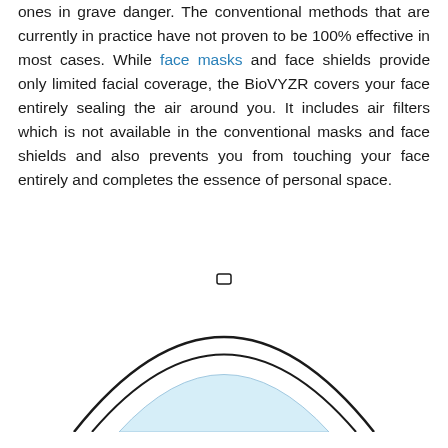ones in grave danger. The conventional methods that are currently in practice have not proven to be 100% effective in most cases. While face masks and face shields provide only limited facial coverage, the BioVYZR covers your face entirely sealing the air around you. It includes air filters which is not available in the conventional masks and face shields and also prevents you from touching your face entirely and completes the essence of personal space.
[Figure (illustration): Diagram showing a cross-section of the BioVYZR face shield — a dome-shaped visor with a light blue inner curved surface and an outer curved shell, with a small rectangular clip/hinge at the top center.]